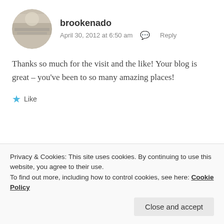brookenado
April 30, 2012 at 6:50 am  Reply
Thanks so much for the visit and the like! Your blog is great – you've been to so many amazing places!
★ Like
Víctor Manteiga
Privacy & Cookies: This site uses cookies. By continuing to use this website, you agree to their use. To find out more, including how to control cookies, see here: Cookie Policy
Close and accept